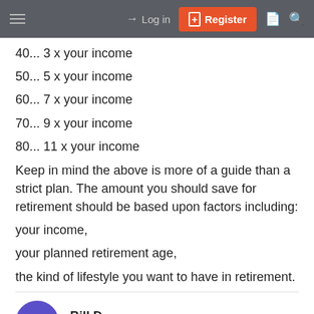Log in | Register
40... 3 x your income
50... 5 x your income
60... 7 x your income
70... 9 x your income
80... 11 x your income
Keep in mind the above is more of a guide than a strict plan. The amount you should save for retirement should be based upon factors including:
your income,
your planned retirement age,
the kind of lifestyle you want to have in retirement.
Bill D
Diamond